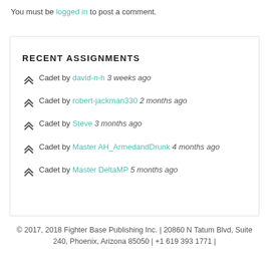You must be logged in to post a comment.
RECENT ASSIGNMENTS
Cadet by david-n-h 3 weeks ago
Cadet by robert-jackman330 2 months ago
Cadet by Steve 3 months ago
Cadet by Master AH_ArmedandDrunk 4 months ago
Cadet by Master DeltaMP 5 months ago
© 2017, 2018 Fighter Base Publishing Inc. | 20860 N Tatum Blvd, Suite 240, Phoenix, Arizona 85050 | +1 619 393 1771 |